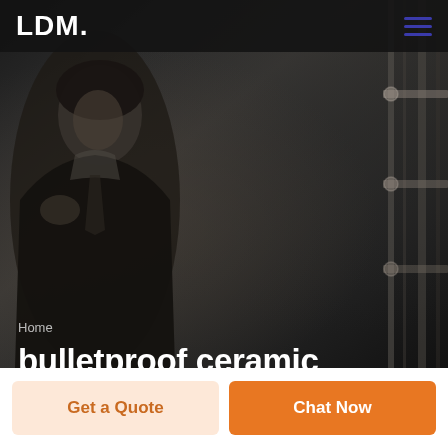[Figure (photo): Hero banner with dark grayscale background showing a man in a suit, with architectural vertical lines on the right side. LDM logo and hamburger menu in top header bar.]
LDM
Home
bulletproof ceramic mosaic tender Swaziland
Get a Quote
Chat Now